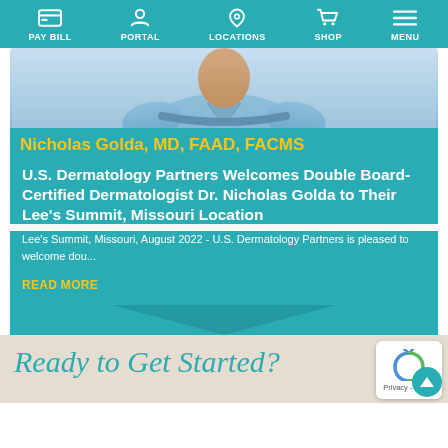PAY BILL  PORTAL  LOCATIONS  SHOP  MENU
[Figure (photo): Photo of Dr. Nicholas Golda in blue medical scrubs with arms crossed]
Nicholas Golda, MD, FAAD, FACMS
U.S. Dermatology Partners Welcomes Double Board-Certified Dermatologist Dr. Nicholas Golda to Their Lee's Summit, Missouri Location
Lee's Summit, Missouri, August 2022 - U.S. Dermatology Partners is pleased to welcome dou...
READ MORE
Ready to Get Started?